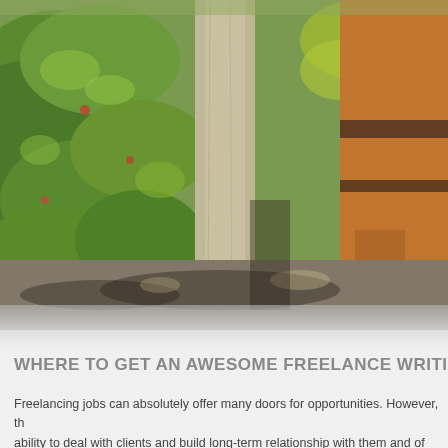[Figure (photo): Outdoor photo showing an elephant leg/foot on rocky ground with lush green foliage and bushes in the background and a stone or concrete pillar in the center. Warm sunlit scene.]
WHERE TO GET AN AWESOME FREELANCE WRITING RE
Freelancing jobs can absolutely offer many doors for opportunities. However, th ability to deal with clients and build long-term relationship with them and of cou